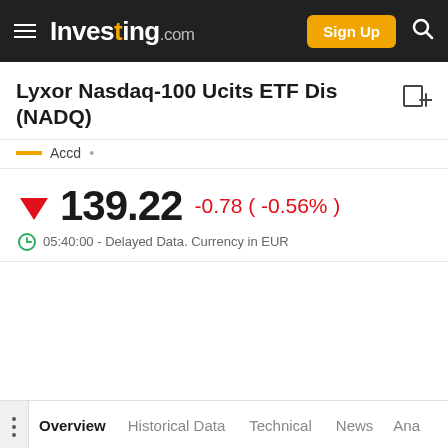Investing.com
Lyxor Nasdaq-100 Ucits ETF Dis (NADQ)
139.22 -0.78 ( -0.56% )
05:40:00 - Delayed Data. Currency in EUR
Overview | Historical Data | Technical | News | Ana